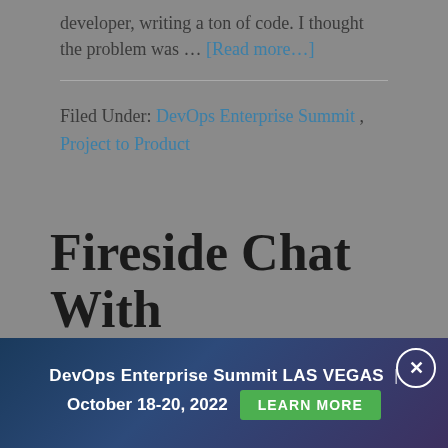developer, writing a ton of code. I thought the problem was … [Read more…]
Filed Under: DevOps Enterprise Summit , Project to Product
Fireside Chat With
DevOps Enterprise Summit LAS VEGAS | October 18-20, 2022 LEARN MORE